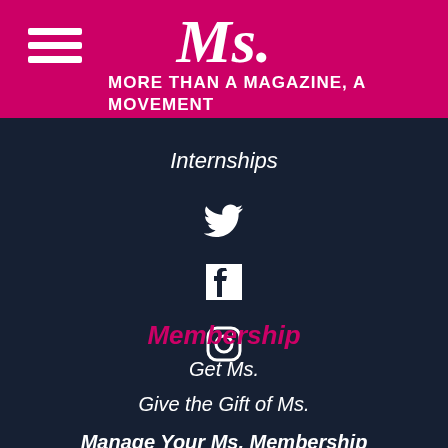Ms. — MORE THAN A MAGAZINE, A MOVEMENT
Internships
[Figure (illustration): Twitter bird icon in white on dark navy background]
[Figure (illustration): Facebook 'f' logo in white on dark navy background]
[Figure (illustration): Instagram camera icon in white on dark navy background]
Membership
Get Ms.
Give the Gift of Ms.
Manage Your Ms. Membership